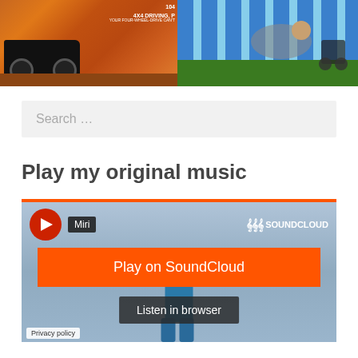[Figure (photo): Two photos side by side: left shows a dark truck/4x4 vehicle on an autumn-colored background with magazine overlay text reading '104' and '4X4 DRIVING, P'; right shows a person relaxing in a striped deck chair outdoors among green foliage]
Search …
Play my original music
[Figure (screenshot): SoundCloud embedded music player widget with orange top border, play button (red circle with white triangle), 'Miri' badge, SoundCloud logo, orange 'Play on SoundCloud' button, 'Listen in browser' button, background showing a person standing, and 'Privacy policy' link at bottom left]